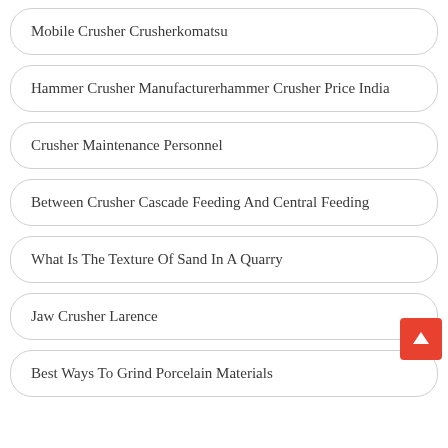Mobile Crusher Crusherkomatsu
Hammer Crusher Manufacturerhammer Crusher Price India
Crusher Maintenance Personnel
Between Crusher Cascade Feeding And Central Feeding
What Is The Texture Of Sand In A Quarry
Jaw Crusher Larence
Best Ways To Grind Porcelain Materials